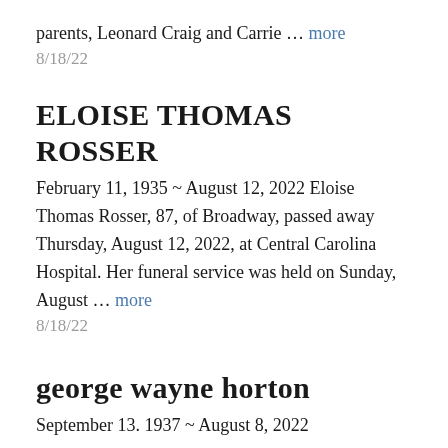parents, Leonard Craig and Carrie … more
8/18/22
ELOISE THOMAS ROSSER
February 11, 1935 ~ August 12, 2022 Eloise Thomas Rosser, 87, of Broadway, passed away Thursday, August 12, 2022, at Central Carolina Hospital. Her funeral service was held on Sunday, August … more
8/18/22
george wayne horton
September 13. 1937 ~ August 8, 2022
George Wayne Horton, 84, passed away